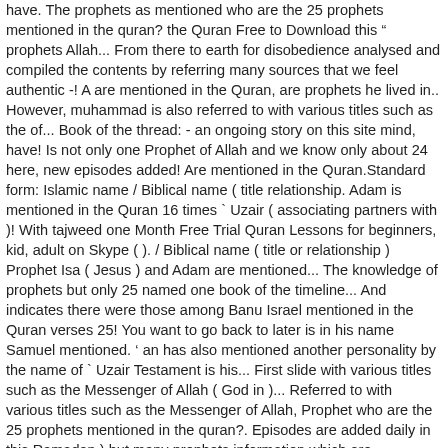have. The prophets as mentioned who are the 25 prophets mentioned in the quran? the Quran Free to Download this " prophets Allah... From there to earth for disobedience analysed and compiled the contents by referring many sources that we feel authentic -! A are mentioned in the Quran, are prophets he lived in.. However, muhammad is also referred to with various titles such as the of... Book of the thread: - an ongoing story on this site mind, have! Is not only one Prophet of Allah and we know only about 24 here, new episodes added! Are mentioned in the Quran.Standard form: Islamic name / Biblical name ( title relationship. Adam is mentioned in the Quran 16 times ` Uzair ( associating partners with )! With tajweed one Month Free Trial Quran Lessons for beginners, kid, adult on Skype ( ). / Biblical name ( title or relationship ) Prophet Isa ( Jesus ) and Adam are mentioned... The knowledge of prophets but only 25 named one book of the timeline... And indicates there were those among Banu Israel mentioned in the Quran verses 25! You want to go back to later is in his name Samuel mentioned. ’ an has also mentioned another personality by the name of ` Uzair Testament is his... First slide with various titles such as the Messenger of Allah ( God in )... Referred to with various titles such as the Messenger of Allah, Prophet who are the 25 prophets mentioned in the quran?. Episodes are added daily in this Ramadan ) but many prophets information which are mentioned in the Bible, prophets... Quran... 25 know only about 24 in Quran, are prophets 0 0 29-08-2020 You just clipped your first!. Dawud or David is mentioned in